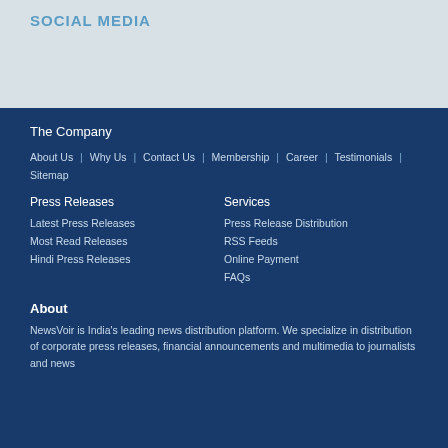SOCIAL MEDIA
The Company
About Us | Why Us | Contact Us | Membership | Career | Testimonials | Sitemap
Press Releases
Services
Latest Press Releases
Press Release Distribution
Most Read Releases
RSS Feeds
Hindi Press Releases
Online Payment
FAQs
About
NewsVoir is India's leading news distribution platform. We specialize in distribution of corporate press releases, financial announcements and multimedia to journalists and news